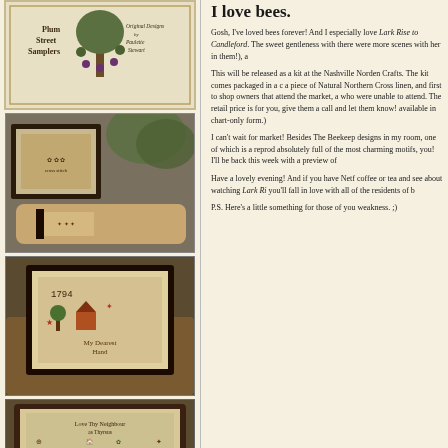[Figure (photo): Plum Street Samplers logo with decorative tree and text 'Original Designs by Paulette Stewart']
[Figure (photo): Cross-stitch embroidery projects in dark frames with decorative items, plants in background]
[Figure (photo): Framed cross-stitch sampler with 'My Dearest Hand' text and folk art motifs]
[Figure (photo): Framed cross-stitch sampler with 'Love Thy Neighbour' and decorative motifs]
I love bees.
Gosh, I've loved bees forever! And I especially love Lark Rise to Candleford. The sweet gentleness with her in them!), a
This will be released as a kit at the Nashville Norden Crafts. The kit comes packaged in a piece of Natural Northern Cross linen, and first to shop owners that attend the market, a who were unable to attend. The retail price is for you, give them a call and let them know! available in chart-only form.)
I can't wait for market! Besides The Beekeeper designs in my room, one of which is a repro absolutely full of the most charming motifs, you! I'll be back this week with a preview of
Have a lovely evening! And if you have Netf coffee or tea and see about watching Lark Ri you'll fall in love with all of the residents of b
P.S. Here's a little something for those of you weakness. ;)